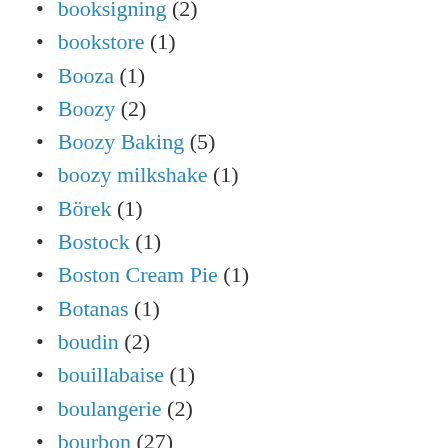booksigning (2)
bookstore (1)
Booza (1)
Boozy (2)
Boozy Baking (5)
boozy milkshake (1)
Börek (1)
Bostock (1)
Boston Cream Pie (1)
Botanas (1)
boudin (2)
bouillabaise (1)
boulangerie (2)
bourbon (27)
bourbon recipes (1)
Bourbon Sauce (1)